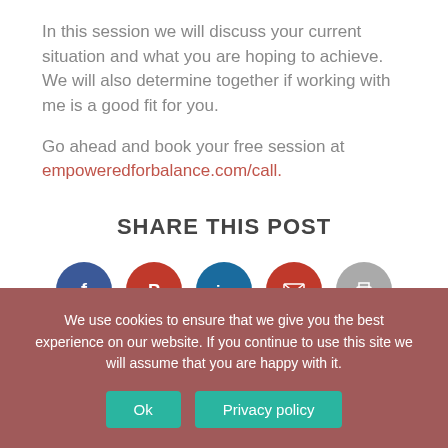In this session we will discuss your current situation and what you are hoping to achieve. We will also determine together if working with me is a good fit for you.
Go ahead and book your free session at empoweredforbalance.com/call.
SHARE THIS POST
[Figure (infographic): Five social share icon circles: Facebook (dark blue), Pinterest (red), LinkedIn (blue), Email (red), Print (grey)]
We use cookies to ensure that we give you the best experience on our website. If you continue to use this site we will assume that you are happy with it.